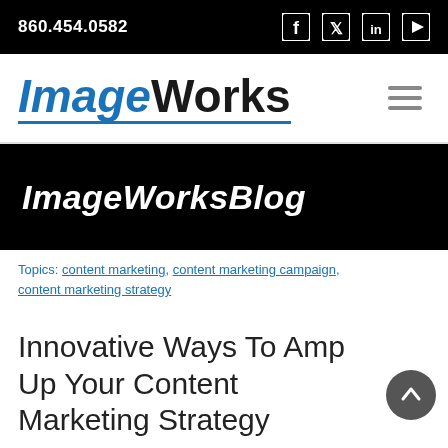860.454.0582
ImageWorks
ImageWorksBlog
Topics: content marketing, content marketing campaign, content marketing strategy
Innovative Ways To Amp Up Your Content Marketing Strategy
Posted by Kelsey Ringuette on Mon, Aug 08, 2016 @